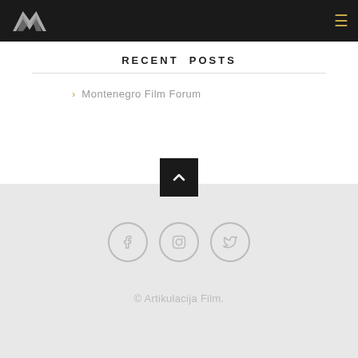Navigation bar with logo and hamburger menu
RECENT POSTS
Montenegro Film Forum
[Figure (other): Back to top button — black square with upward chevron arrow]
[Figure (other): Three social media icon circles: Facebook, Instagram, Twitter]
© Artikulacija Film.